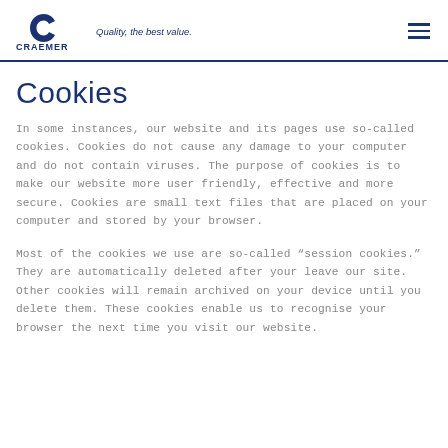CRAEMER — Quality, the best value.
Cookies
In some instances, our website and its pages use so-called cookies. Cookies do not cause any damage to your computer and do not contain viruses. The purpose of cookies is to make our website more user friendly, effective and more secure. Cookies are small text files that are placed on your computer and stored by your browser.
Most of the cookies we use are so-called “session cookies.” They are automatically deleted after your leave our site. Other cookies will remain archived on your device until you delete them. These cookies enable us to recognise your browser the next time you visit our website.